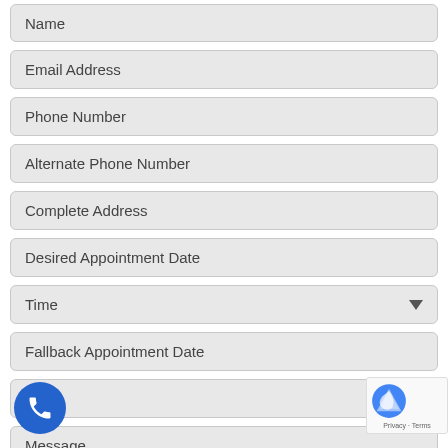Name
Email Address
Phone Number
Alternate Phone Number
Complete Address
Desired Appointment Date
Time
Fallback Appointment Date
Time
Message